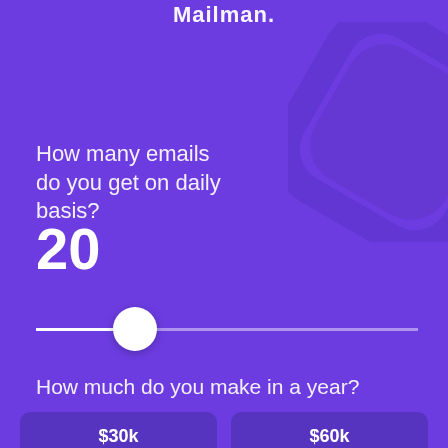Mailman.
[Figure (illustration): Decorative rotated rounded square shape in darker purple, partially visible in upper right area of page]
How many emails do you get on daily basis?
20
[Figure (other): Horizontal slider control with white thumb at approximately 20% position, white filled track on left, lighter track on right]
How much do you make in a year?
$30k
$60k
$80k
$100k